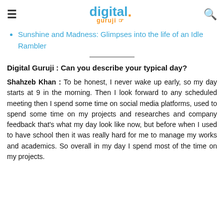digital guruji
Sunshine and Madness: Glimpses into the life of an Idle Rambler
Digital Guruji : Can you describe your typical day?
Shahzeb Khan : To be honest, I never wake up early, so my day starts at 9 in the morning. Then I look forward to any scheduled meeting then I spend some time on social media platforms, used to spend some time on my projects and researches and company feedback that’s what my day look like now, but before when I used to have school then it was really hard for me to manage my works and academics. So overall in my day I spend most of the time on my projects.